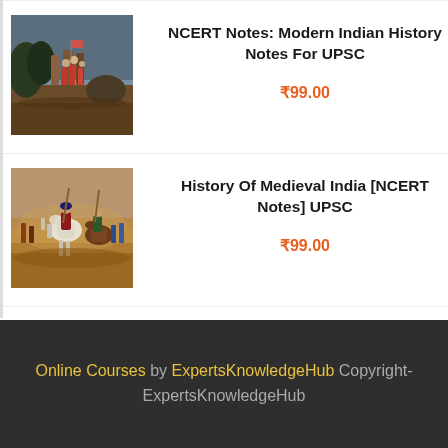[Figure (photo): Historical painting of British colonial/military scene with figures and elephants]
NCERT Notes: Modern Indian History Notes For UPSC
₹99.00
[Figure (photo): Historical painting of medieval cavalry battle scene with horses and soldiers]
History Of Medieval India [NCERT Notes] UPSC
₹99.00
Online Courses by ExpertsKnowledgeHub Copyright- ExpertsKnowledgeHub